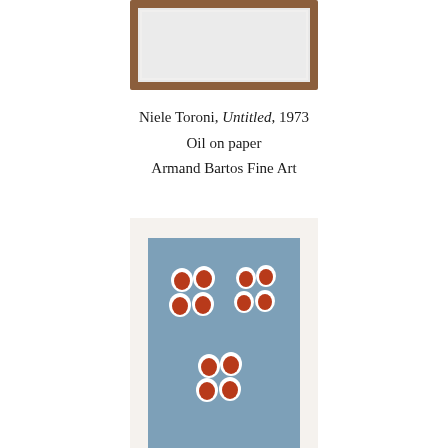[Figure (photo): Top portion of a framed artwork with a wooden frame, showing a mostly white/light gray surface, cropped at the top of the page.]
Niele Toroni, Untitled, 1973
Oil on paper
Armand Bartos Fine Art
[Figure (photo): A blue-ground painting showing groups of red/terracotta kidney or heart-shaped brush marks arranged in clusters of four, each mark outlined in white, on a steel-blue background with a wide cream border.]